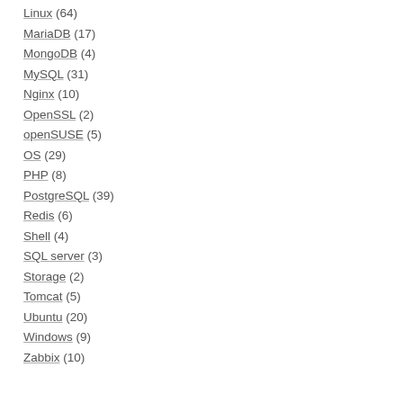Linux (64)
MariaDB (17)
MongoDB (4)
MySQL (31)
Nginx (10)
OpenSSL (2)
openSUSE (5)
OS (29)
PHP (8)
PostgreSQL (39)
Redis (6)
Shell (4)
SQL server (3)
Storage (2)
Tomcat (5)
Ubuntu (20)
Windows (9)
Zabbix (10)